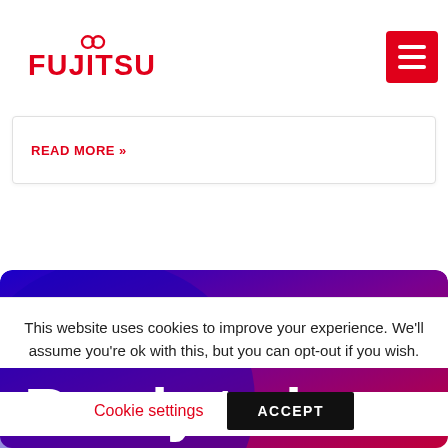FUJITSU
READ MORE »
[Figure (illustration): Fujitsu website banner with gradient blue to red background and text 'Ready to learn']
This website uses cookies to improve your experience. We'll assume you're ok with this, but you can opt-out if you wish.
Cookie settings  ACCEPT